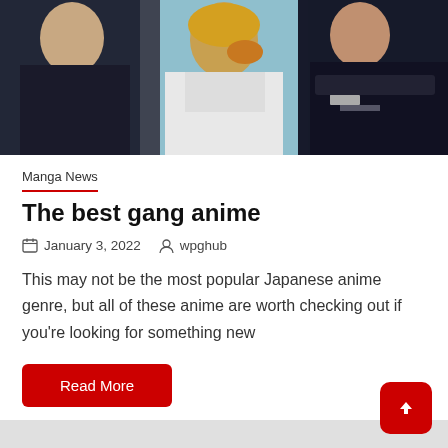[Figure (illustration): Anime illustration showing three gang characters in dark outfits against a light blue background. Center character has blonde hair and is eating something, flanked by two characters in dark/black clothing.]
Manga News
The best gang anime
January 3, 2022   wpghub
This may not be the most popular Japanese anime genre, but all of these anime are worth checking out if you're looking for something new
Read More